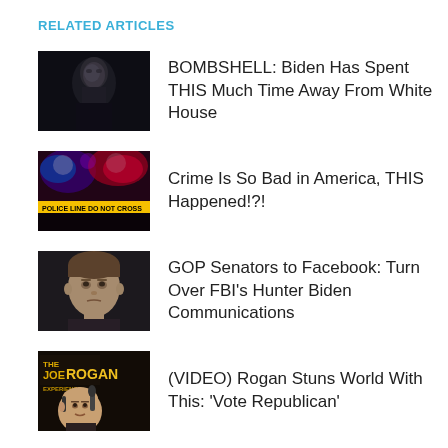RELATED ARTICLES
[Figure (photo): Dark portrait photo of Joe Biden]
BOMBSHELL: Biden Has Spent THIS Much Time Away From White House
[Figure (photo): Police crime scene tape with flashing police lights at night - POLICE LINE DO NOT CROSS]
Crime Is So Bad in America, THIS Happened!?!
[Figure (photo): Portrait photo of Mark Zuckerberg with serious expression]
GOP Senators to Facebook: Turn Over FBI's Hunter Biden Communications
[Figure (photo): Joe Rogan Experience podcast logo with Joe Rogan speaking into microphone]
(VIDEO) Rogan Stuns World With This: 'Vote Republican'